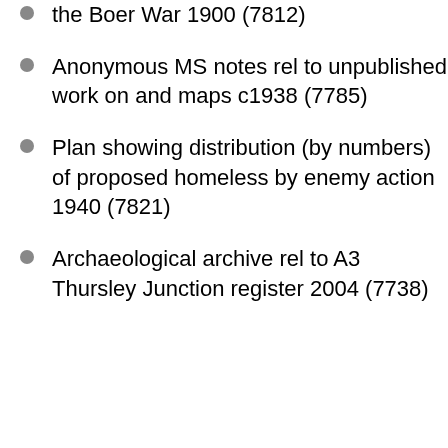the Boer War 1900 (7812)
Anonymous MS notes rel to unpublished work on and maps c1938 (7785)
Plan showing distribution (by numbers) of proposed homeless by enemy action 1940 (7821)
Archaeological archive rel to A3 Thursley Junction register 2004 (7738)
Send me The National Archives' news
A monthly round-up of news, blogs, offers and events.
Sign up
About our privacy policy
The National Archives   Find out more